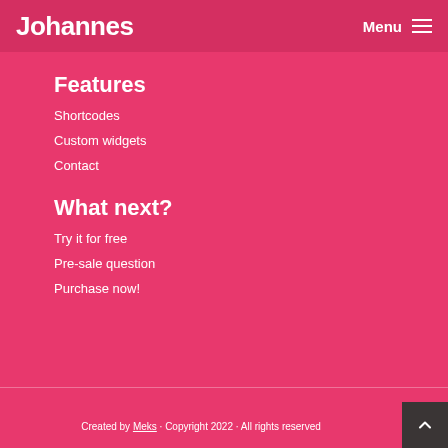Johannes  Menu
Features
Shortcodes
Custom widgets
Contact
What next?
Try it for free
Pre-sale question
Purchase now!
Created by Meks · Copyright 2022 · All rights reserved